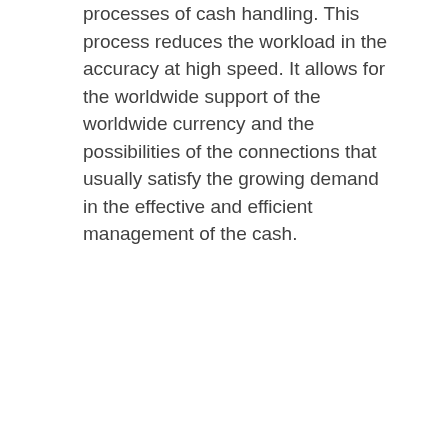processes of cash handling. This process reduces the workload in the accuracy at high speed. It allows for the worldwide support of the worldwide currency and the possibilities of the connections that usually satisfy the growing demand in the effective and efficient management of the cash.